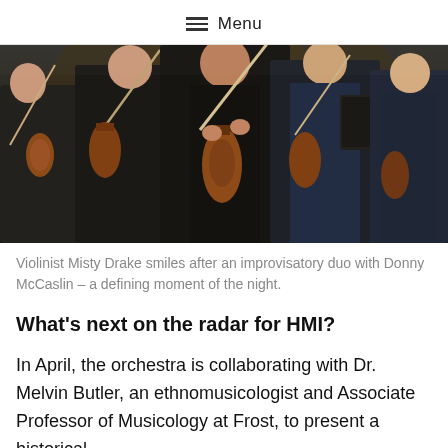Menu
[Figure (photo): Orchestra musicians playing violins on stage, wearing black and dark blue formal attire, holding bows and instruments under stage lighting.]
Violinist Misty Drake smiles after an improvisatory duo with Donny McCaslin – a defining moment of the night.
What's next on the radar for HMI?
In April, the orchestra is collaborating with Dr. Melvin Butler, an ethnomusicologist and Associate Professor of Musicology at Frost, to present a historical